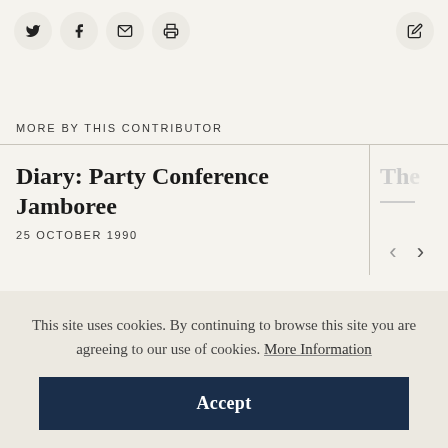Social share icons: Twitter, Facebook, Email, Print; Edit icon
MORE BY THIS CONTRIBUTOR
Diary: Party Conference Jamboree
25 OCTOBER 1990
This site uses cookies. By continuing to browse this site you are agreeing to our use of cookies. More Information
Accept